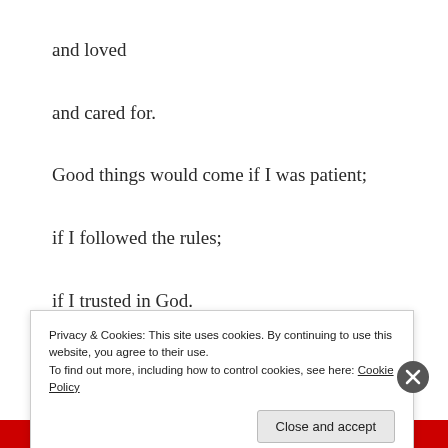and loved
and cared for.
Good things would come if I was patient;
if I followed the rules;
if I trusted in God.
And I did.
Privacy & Cookies: This site uses cookies. By continuing to use this website, you agree to their use.
To find out more, including how to control cookies, see here: Cookie Policy
Close and accept